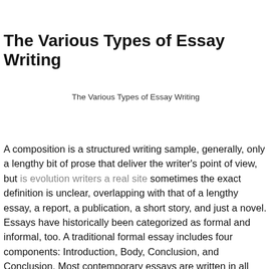The Various Types of Essay Writing
The Various Types of Essay Writing
A composition is a structured writing sample, generally, only a lengthy bit of prose that deliver the writer's point of view, but is evolution writers a real site sometimes the exact definition is unclear, overlapping with that of a lengthy essay, a report, a publication, a short story, and just a novel. Essays have historically been categorized as formal and informal, too. A traditional formal essay includes four components: Introduction, Body, Conclusion, and Conclusion. Most contemporary essays are written in all four parts, although some essay have only one or two of the four components. In addition to being the traditional four-part informative article, newer variants of this article are more hybrid and multidisciplinary in nature, often containing